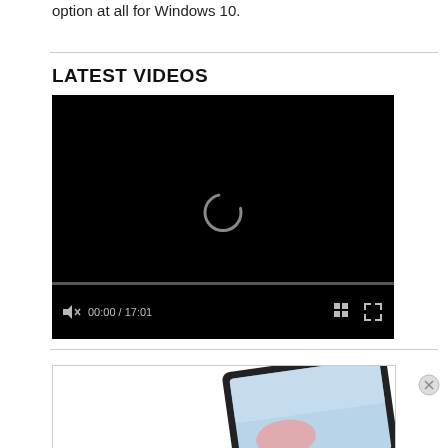option at all for Windows 10.
LATEST VIDEOS
[Figure (screenshot): Video player showing a black screen with a loading spinner and controls showing 00:00 / 17:01]
[Figure (illustration): Advertisement showing a tablet/laptop device with a colorful screen, partially cropped, with an X close button]